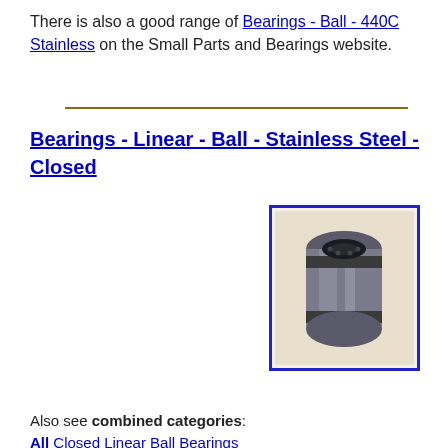There is also a good range of Bearings - Ball - 440C Stainless on the Small Parts and Bearings website.
Bearings - Linear - Ball - Stainless Steel - Closed
[Figure (photo): Photo of a closed linear ball bearing, cylindrical stainless steel component with dark end rings, shown at an angle.]
Sizes & Prices
Also see combined categories: All Closed Linear Ball Bearings